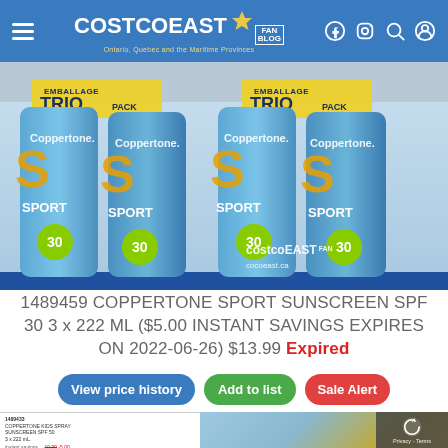COSTCO EAST FAN BLOG — Ontario, Quebec and the Maritime Provinces
[Figure (photo): Coppertone Sport SPF 30 3-pack (Trio Pack) sunscreen spray bottles displayed on a Costco shelf, showing two sets of the trio pack. Bottles are blue with yellow Coppertone Sport branding and green SPF 30 badge. Costco East Fan Blog watermark and cocoeast.ca URL visible bottom right.]
1489459 COPPERTONE SPORT SUNSCREEN SPF 30 3 x 222 ML ($5.00 INSTANT SAVINGS EXPIRES ON 2022-06-26) $13.99 Expired
View price history
Add to list
Sale Alert
[Figure (photo): Costco price tag showing item 1489433 COPPERTONE KIDS SPRAY SUNSCREEN SPF 50 3 x 222 mL priced at 14.99 (regular 19.99, savings -5.00). Adjacent image shows yellow-capped Coppertone spray bottles on shelf.]